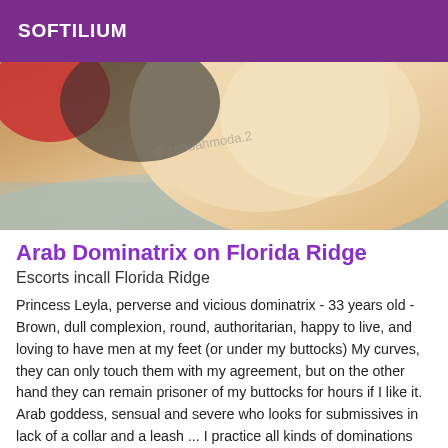SOFTILIUM
[Figure (photo): Close-up photo, partially cropped, warm skin tones with fabric/bedding visible]
Arab Dominatrix on Florida Ridge
Escorts incall Florida Ridge
Princess Leyla, perverse and vicious dominatrix - 33 years old - Brown, dull complexion, round, authoritarian, happy to live, and loving to have men at my feet (or under my buttocks) My curves, they can only touch them with my agreement, but on the other hand they can remain prisoner of my buttocks for hours if I like it. Arab goddess, sensual and severe who looks for submissives in lack of a collar and a leash ... I practice all kinds of dominations and adapt myself according to the profile of